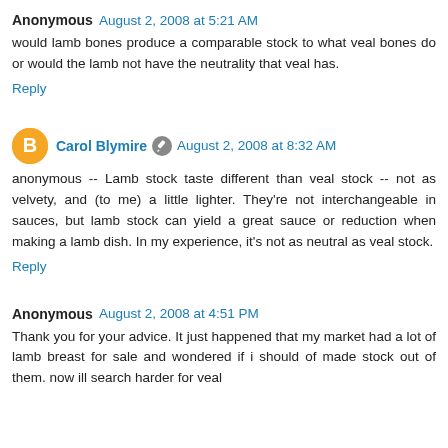Anonymous  August 2, 2008 at 5:21 AM
would lamb bones produce a comparable stock to what veal bones do or would the lamb not have the neutrality that veal has.
Reply
Carol Blymire  August 2, 2008 at 8:32 AM
anonymous -- Lamb stock taste different than veal stock -- not as velvety, and (to me) a little lighter. They're not interchangeable in sauces, but lamb stock can yield a great sauce or reduction when making a lamb dish. In my experience, it's not as neutral as veal stock.
Reply
Anonymous  August 2, 2008 at 4:51 PM
Thank you for your advice. It just happened that my market had a lot of lamb breast for sale and wondered if i should of made stock out of them. now ill search harder for veal